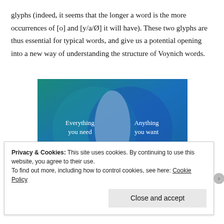glyphs (indeed, it seems that the longer a word is the more occurrences of [o] and [y/a/Ø] it will have). These two glyphs are thus essential for typical words, and give us a potential opening into a new way of understanding the structure of Voynich words.
[Figure (illustration): Venn diagram with two overlapping circles on a blue-teal gradient background. Left circle labeled 'Everything you need', right circle labeled 'Anything you want'.]
Privacy & Cookies: This site uses cookies. By continuing to use this website, you agree to their use.
To find out more, including how to control cookies, see here: Cookie Policy